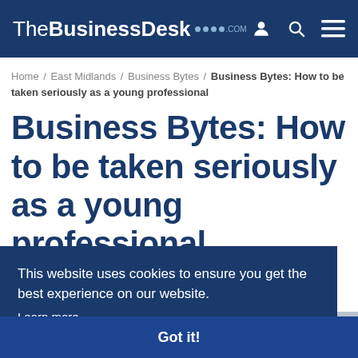TheBusinessDesk.com
Home / East Midlands / Business Bytes / Business Bytes: How to be taken seriously as a young professional
Business Bytes: How to be taken seriously as a young professional
This website uses cookies to ensure you get the best experience on our website. Learn more
Got it!